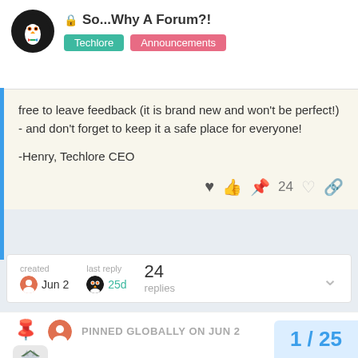So...Why A Forum?! | Techlore | Announcements
free to leave feedback (it is brand new and won't be perfect!) - and don't forget to keep it a safe place for everyone!
-Henry, Techlore CEO
created Jun 2 | last reply 25d | 24 replies
PINNED GLOBALLY ON JUN 2
Karner Jun 2
Amazing! Forums are a lot more search... can be browsed without an account! Th
1 / 25